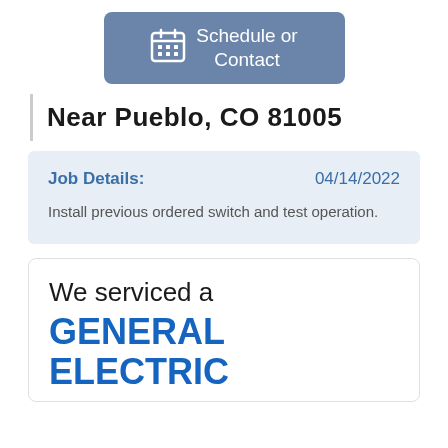[Figure (other): Blue-grey button with calendar icon and text 'Schedule or Contact']
Near Pueblo, CO 81005
Job Details:
04/14/2022
Install previous ordered switch and test operation.
We serviced a
GENERAL ELECTRIC